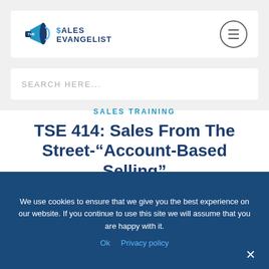THE SALES EVANGELIST
SEARCH HERE...
SALES TRAINING
TSE 414: Sales From The Street-“Account-Based Selling”
We use cookies to ensure that we give you the best experience on our website. If you continue to use this site we will assume that you are happy with it.
Ok   Privacy policy